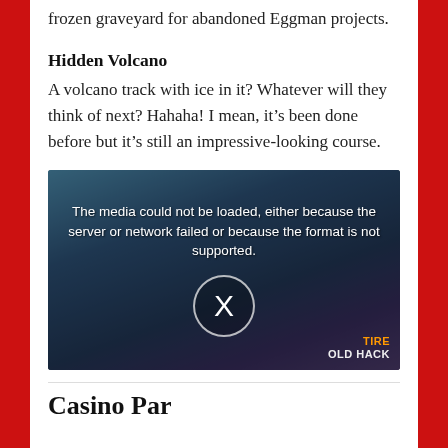frozen graveyard for abandoned Eggman projects.
Hidden Volcano
A volcano track with ice in it? Whatever will they think of next? Hahaha! I mean, it’s been done before but it’s still an impressive-looking course.
[Figure (screenshot): Video player screenshot showing a racing game scene with the error message: 'The media could not be loaded, either because the server or network failed or because the format is not supported.' An X icon appears in a circle. A watermark reads 'TIRE OLD HACK' in the bottom right corner.]
Casino Park